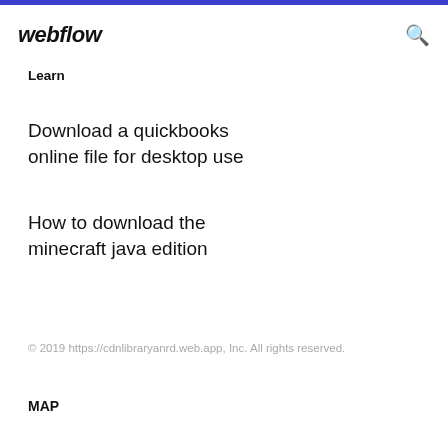webflow
Learn
Download a quickbooks online file for desktop use
How to download the minecraft java edition
© 2019 https://cdnlibraryanrd.web.app, Inc. All rights reserved.
MAP